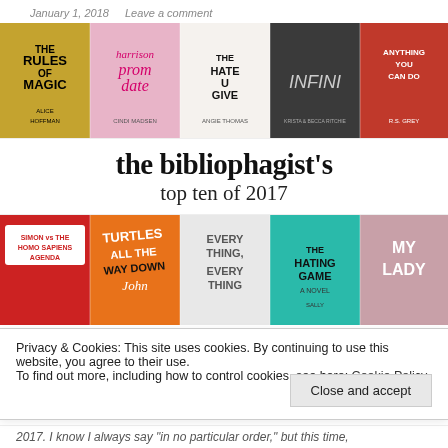January 1, 2018   Leave a comment
[Figure (photo): Collage of 5 book covers top row: The Rules of Magic by Alice Hoffman, Prom Date by Cindi Madsen, The Hate U Give by Angie Thomas, Infini by Krista and Becca Ritchie, Anything You Can Do by R.S. Grey]
the bibliophagist's top ten of 2017
[Figure (photo): Collage of 5 book covers bottom row: Simon vs the Homo Sapiens Agenda, Turtles All the Way Down by John, Everything Everything, The Hating Game A Novel by Sally, My Lady]
Privacy & Cookies: This site uses cookies. By continuing to use this website, you agree to their use.
To find out more, including how to control cookies, see here: Cookie Policy
2017. I know I always say "in no particular order," but this time,